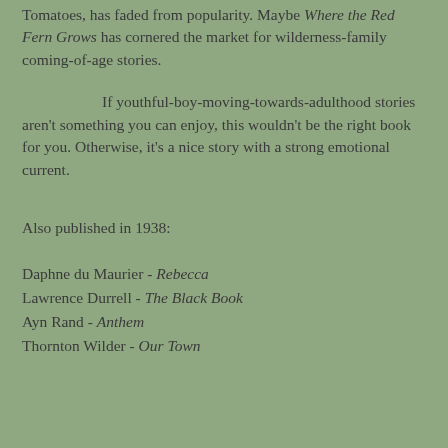Tomatoes, has faded from popularity.  Maybe Where the Red Fern Grows has cornered the market for wilderness-family coming-of-age stories.
If youthful-boy-moving-towards-adulthood stories aren't something you can enjoy, this wouldn't be the right book for you.  Otherwise, it's a nice story with a strong emotional current.
Also published in 1938:
Daphne du Maurier - Rebecca
Lawrence Durrell - The Black Book
Ayn Rand - Anthem
Thornton Wilder - Our Town